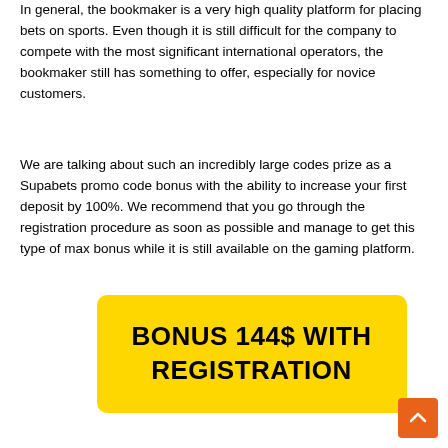In general, the bookmaker is a very high quality platform for placing bets on sports. Even though it is still difficult for the company to compete with the most significant international operators, the bookmaker still has something to offer, especially for novice customers.
We are talking about such an incredibly large codes prize as a Supabets promo code bonus with the ability to increase your first deposit by 100%. We recommend that you go through the registration procedure as soon as possible and manage to get this type of max bonus while it is still available on the gaming platform.
[Figure (other): Yellow button with bold black text reading BONUS 144$ WITH REGISTRATION]